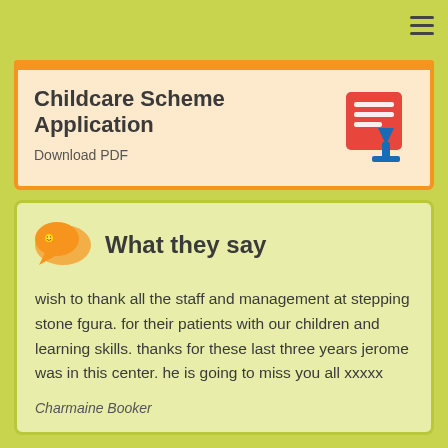Childcare Scheme Application
Download PDF
What they say
wish to thank all the staff and management at stepping stone fgura. for their patients with our children and learning skills. thanks for these last three years jerome was in this center. he is going to miss you all xxxxx
Charmaine Booker